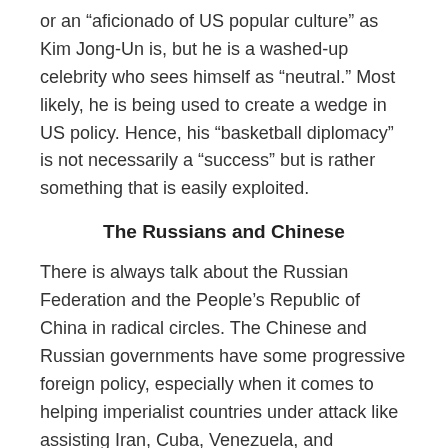or an “aficionado of US popular culture” as Kim Jong-Un is, but he is a washed-up celebrity who sees himself as “neutral.” Most likely, he is being used to create a wedge in US policy. Hence, his “basketball diplomacy” is not necessarily a “success” but is rather something that is easily exploited.
The Russians and Chinese
There is always talk about the Russian Federation and the People’s Republic of China in radical circles. The Chinese and Russian governments have some progressive foreign policy, especially when it comes to helping imperialist countries under attack like assisting Iran, Cuba, Venezuela, and Zimbabwe for example. But, since neither of these countries are socialist, they easily cut deals with Western capitalists to help their respective bourgeoisie. This is part of the reason why Russia and China have not stood behind the DPRK’s acts of self-defense against aggression by the